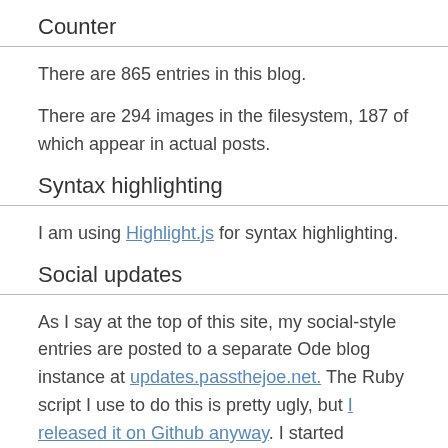Counter
There are 865 entries in this blog.
There are 294 images in the filesystem, 187 of which appear in actual posts.
Syntax highlighting
I am using Highlight.js for syntax highlighting.
Social updates
As I say at the top of this site, my social-style entries are posted to a separate Ode blog instance at updates.passthejoe.net. The Ruby script I use to do this is pretty ugly, but I released it on Github anyway. I started working on a version that is much more class-based (as in object-oriented), but that project stalled out a bit. I'm considering bringing this concept to Android, or doing it in Java with a JavaFX GUI, or doing it in Node.js for